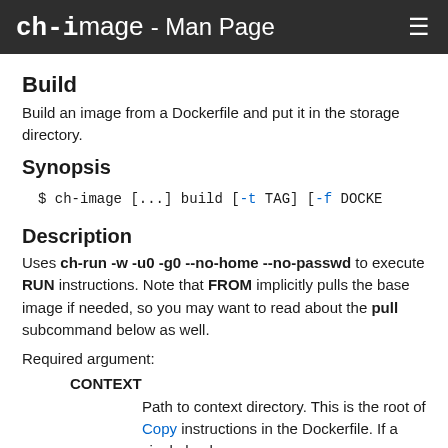ch-image - Man Page
Build
Build an image from a Dockerfile and put it in the storage directory.
Synopsis
$ ch-image [...] build [-t TAG] [-f DOCKE
Description
Uses ch-run -w -u0 -g0 --no-home --no-passwd to execute RUN instructions. Note that FROM implicitly pulls the base image if needed, so you may want to read about the pull subcommand below as well.
Required argument:
CONTEXT
Path to context directory. This is the root of Copy instructions in the Dockerfile. If a single hyphen (-) is specified, (s) read the Dockerfile from